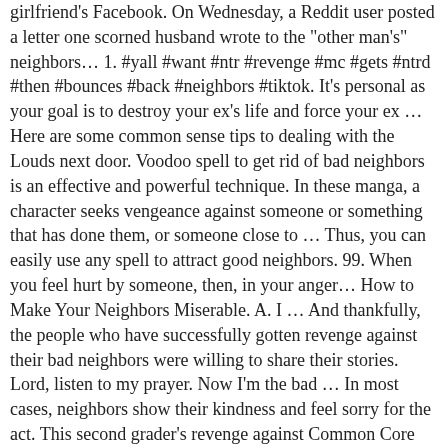girlfriend's Facebook. On Wednesday, a Reddit user posted a letter one scorned husband wrote to the "other man's" neighbors… 1. #yall #want #ntr #revenge #mc #gets #ntrd #then #bounces #back #neighbors #tiktok. It's personal as your goal is to destroy your ex's life and force your ex … Here are some common sense tips to dealing with the Louds next door. Voodoo spell to get rid of bad neighbors is an effective and powerful technique. In these manga, a character seeks vengeance against someone or something that has done them, or someone close to … Thus, you can easily use any spell to attract good neighbors. 99. When you feel hurt by someone, then, in your anger… How to Make Your Neighbors Miserable. A. I … And thankfully, the people who have successfully gotten revenge against their bad neighbors were willing to share their stories. Lord, listen to my prayer. Now I'm the bad … In most cases, neighbors show their kindness and feel sorry for the act. This second grader's revenge against Common Core math will make your day. Many people who harass one person are … In most cases, neighbors show their kindness and feel sorry for the act. Revenge … DUBAI, United Arab Emirates (AP) — The United Arab Emirates and the U. (Thanks PJ7 for the contest suggestion. My house was constantly being robbed by … High-conflict people are those that have long-standing patterns of looking at the world as, "You're either with me, or you're against me. According to the KIRO … By showing you're open to com[en English] s may be more likely to want to